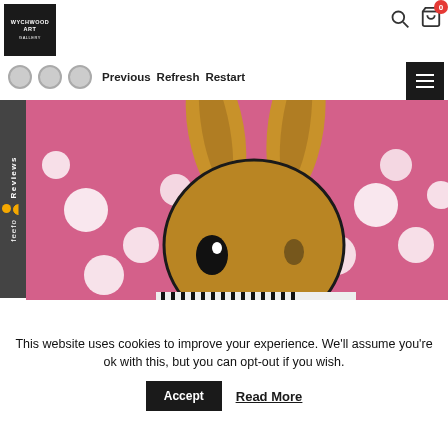[Figure (logo): Wychwood Art Gallery logo — black square with white text]
Previous  Refresh  Restart
[Figure (illustration): Painting of a Playboy bunny silhouette in tan/gold on a pink background with white polka dots, wearing a zebra-stripe bow tie]
This website uses cookies to improve your experience. We'll assume you're ok with this, but you can opt-out if you wish.
Accept   Read More